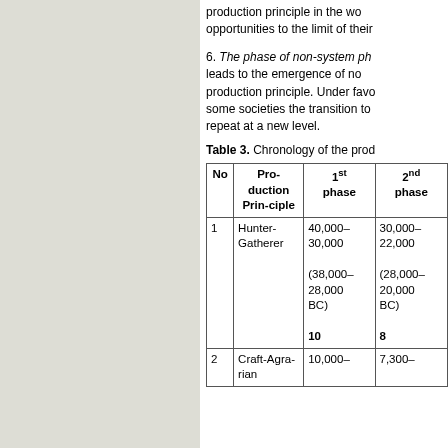production principle in the wo... opportunities to the limit of their...
6. The phase of non-system ph... leads to the emergence of no... production principle. Under favo... some societies the transition to... repeat at a new level.
Table 3. Chronology of the prod...
| No | Pro-duction Prin-ciple | 1st phase | 2nd phase |
| --- | --- | --- | --- |
| 1 | Hunter-Gatherer | 40,000–30,000
(38,000–28,000 BC)
10 | 30,000–22,000
(28,000–20,000 BC)
8 |
| 2 | Craft-Agra-rian | 10,000– | 7,300– |